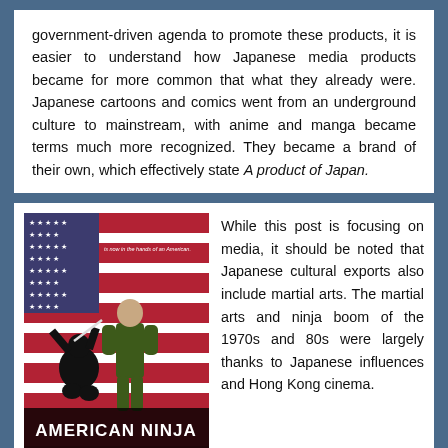government-driven agenda to promote these products, it is easier to understand how Japanese media products became for more common that what they already were. Japanese cartoons and comics went from an underground culture to mainstream, with anime and manga became terms much more recognized. They became a brand of their own, which effectively state A product of Japan.
[Figure (photo): Movie poster for 'American Ninja' — shows two fighters against an American flag background, one in a black ninja outfit and one in camouflage. Text includes 'The deadliest art of the Orient is now in the hands of an American.' Credits at the bottom mention The Cannon Group, Inc., Golan-Globus, Sam Firstenberg, Michael Dudikoff, Steve James, Judie Aronson, Michael Linn, among others.]
While this post is focusing on media, it should be noted that Japanese cultural exports also include martial arts. The martial arts and ninja boom of the 1970s and 80s were largely thanks to Japanese influences and Hong Kong cinema.